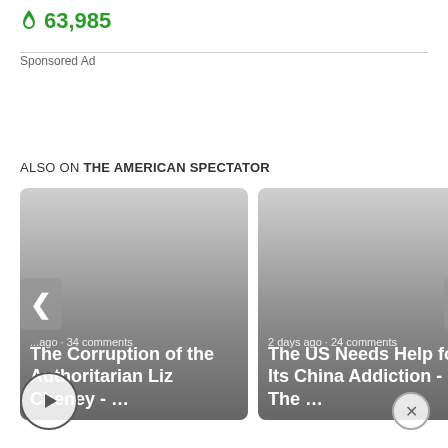🔥 63,985
Sponsored Ad
ALSO ON THE AMERICAN SPECTATOR
[Figure (screenshot): Card 1: Article card showing '...ago · 34 comments' and title 'The Corruption of the Authoritarian Liz Cheney - ...' on a gray gradient background]
[Figure (screenshot): Card 2: Article card showing '2 days ago · 24 comments' and title 'The US Needs Help for Its China Addiction - The ...' on a gray gradient background]